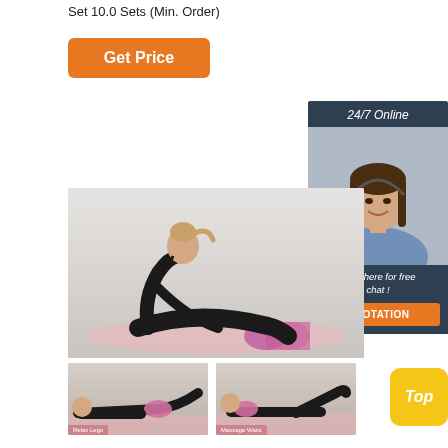Set 10.0 Sets (Min. Order)
Get Price
[Figure (photo): Customer service representative with headset and text '24/7 Online', 'Click here for free chat!', and 'QUOTATION' button]
[Figure (photo): Woman in black workout clothes using a pink foam roller on a pink mat, side profile]
[Figure (photo): Person lying on back using foam roller under legs, labeled 'Relax Legs']
[Figure (photo): Person lying on back using foam roller under neck/waist, labeled 'Massage Waist']
Top